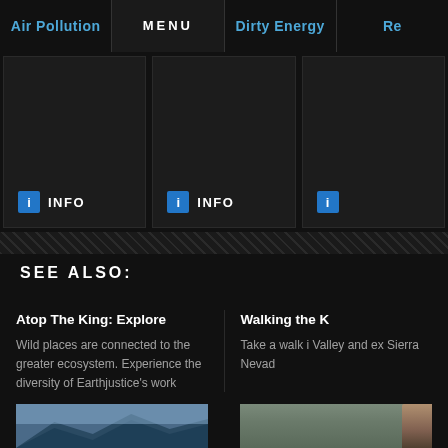Air Pollution | MENU | Dirty Energy | Re...
[Figure (screenshot): Navigation card panels with INFO buttons and info icons on dark background]
SEE ALSO:
Atop The King: Explore
Wild places are connected to the greater ecosystem. Experience the diversity of Earthjustice's work
Walking the ...
Take a walk ... Valley and ex... Sierra Nevad...
[Figure (photo): Mountain landscape with clouds, blue sky — left thumbnail]
[Figure (photo): Person hiking in Sierra Nevada landscape — right thumbnail]